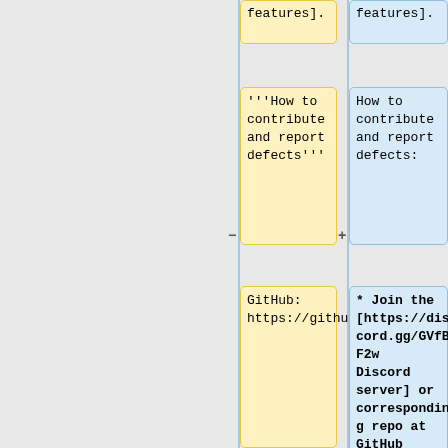features].
features].
'''How to contribute and report defects'''
How to contribute and report defects:
GitHub: https://github.com/ExpidusOS
* Join the [https://discord.gg/GVfBF2w Discord server] or corresponding repo at GitHub ([https://github.com/orgs/ExpidusOS/repositories repo list]).